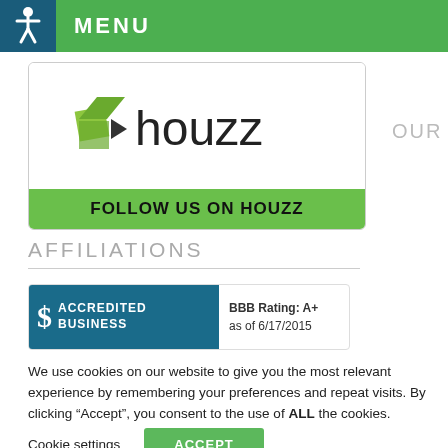MENU
[Figure (logo): Houzz logo with Follow Us On Houzz button]
OUR
AFFILIATIONS
[Figure (logo): BBB Accredited Business badge, BBB Rating: A+ as of 6/17/2015]
We use cookies on our website to give you the most relevant experience by remembering your preferences and repeat visits. By clicking “Accept”, you consent to the use of ALL the cookies.
Cookie settings
ACCEPT